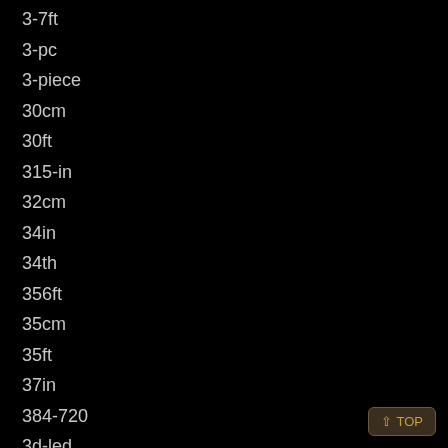3-7ft
3-pc
3-piece
30cm
30ft
315-in
32cm
34in
34th
356ft
35cm
35ft
37in
384-720
3d-led
3d-led-schwibbogen
3d-räucher-
3d-räucher-schwibbogen